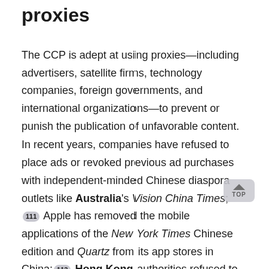proxies
The CCP is adept at using proxies—including advertisers, satellite firms, technology companies, foreign governments, and international organizations—to prevent or punish the publication of unfavorable content. In recent years, companies have refused to place ads or revoked previous ad purchases with independent-minded Chinese diaspora outlets like Australia's Vision China Times; [111] Apple has removed the mobile applications of the New York Times Chinese edition and Quartz from its app stores in China; [112] Hong Kong authorities refused to renew a visa for Financial Times editor Victor Mallet; [113] and NTDTV was denied accreditation to cover the UN General Assembly in New York. [114] But these represent only a small sample of the ways in which proxies have